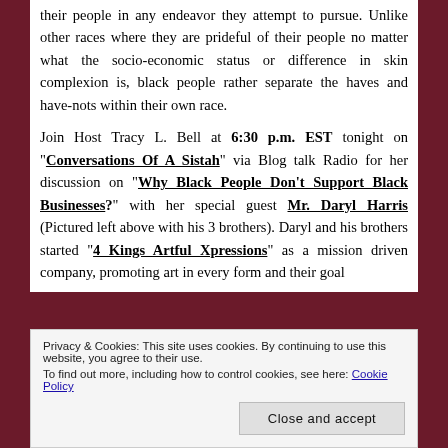their people in any endeavor they attempt to pursue. Unlike other races where they are prideful of their people no matter what the socio-economic status or difference in skin complexion is, black people rather separate the haves and have-nots within their own race.

Join Host Tracy L. Bell at 6:30 p.m. EST tonight on "Conversations Of A Sistah" via Blog talk Radio for her discussion on "Why Black People Don't Support Black Businesses?" with her special guest Mr. Daryl Harris (Pictured left above with his 3 brothers). Daryl and his brothers started "4 Kings Artful Xpressions" as a mission driven company, promoting art in every form and their goal
Privacy & Cookies: This site uses cookies. By continuing to use this website, you agree to their use. To find out more, including how to control cookies, see here: Cookie Policy
Close and accept